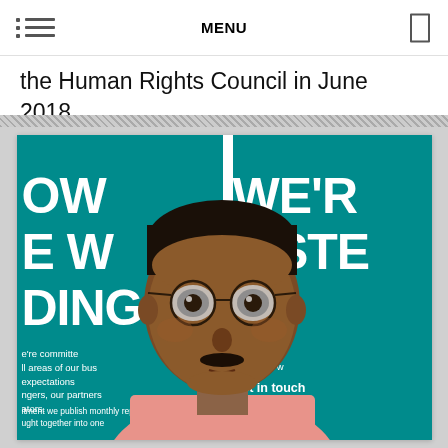MENU
the Human Rights Council in June 2018.
[Figure (photo): A man wearing glasses and a pink shirt stands in front of two teal banners at what appears to be Gatwick Airport. The banners read 'WE'RE LISTENING' and contain text about commitment to service and 'gatwickairpo...']